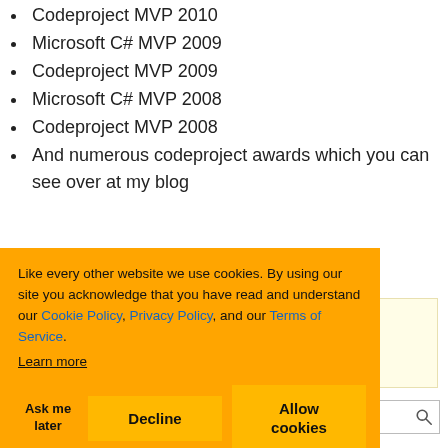Codeproject MVP 2010
Microsoft C# MVP 2009
Codeproject MVP 2009
Microsoft C# MVP 2008
Codeproject MVP 2008
And numerous codeproject awards which you can see over at my blog
ions
Like every other website we use cookies. By using our site you acknowledge that you have read and understand our Cookie Policy, Privacy Policy, and our Terms of Service. Learn more
Ask me later   Decline   Allow cookies